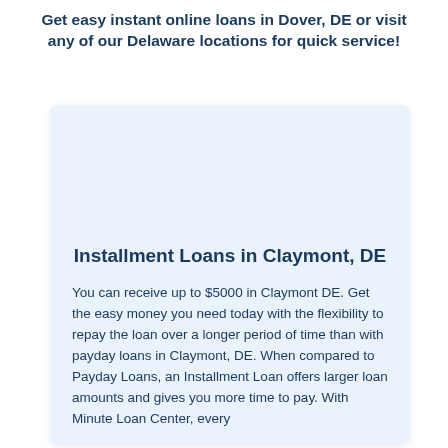Get easy instant online loans in Dover, DE or visit any of our Delaware locations for quick service!
Installment Loans in Claymont, DE
You can receive up to $5000 in Claymont DE. Get the easy money you need today with the flexibility to repay the loan over a longer period of time than with payday loans in Claymont, DE. When compared to Payday Loans, an Installment Loan offers larger loan amounts and gives you more time to pay. With Minute Loan Center, every